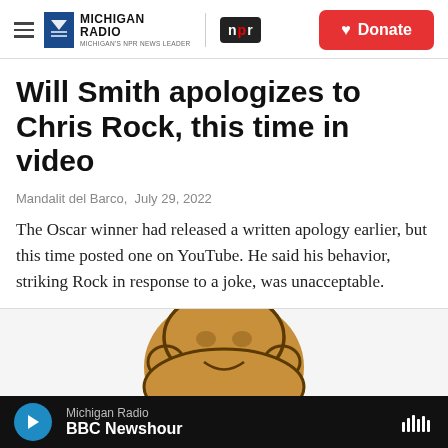Michigan Radio NPR | Donate
Will Smith apologizes to Chris Rock, this time in video
Mandalit del Barco,  July 29, 2022
The Oscar winner had released a written apology earlier, but this time posted one on YouTube. He said his behavior, striking Rock in response to a joke, was unacceptable.
[Figure (illustration): Cartoon illustration of a figure, partially visible, tan/brown colored cartoon character]
Michigan Radio | BBC Newshour